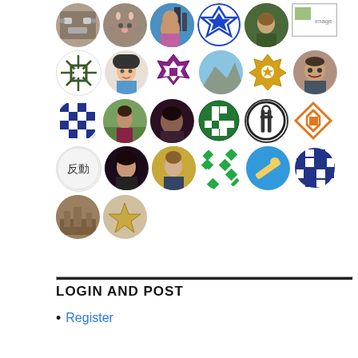[Figure (other): Grid of circular user avatars showing profile photos, geometric patterns, and icons arranged in 5 rows of 6 avatars each, plus 2 extra in a 6th row. One avatar is a rectangular image placeholder.]
LOGIN AND POST
Register